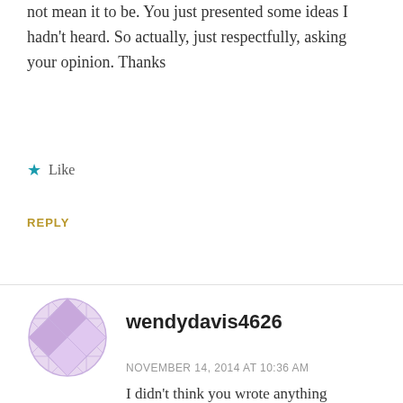not mean it to be. You just presented some ideas I hadn't heard. So actually, just respectfully, asking your opinion. Thanks
★ Like
REPLY
[Figure (illustration): Round avatar icon with a purple/lavender geometric diamond quilt pattern]
wendydavis4626
NOVEMBER 14, 2014 AT 10:36 AM
I didn't think you wrote anything confrontational at all Gennie and I hope my reply isn't too confusing. I'm on expert on fitness matters, not religious ideology, so take all this from the "for-what-it's-